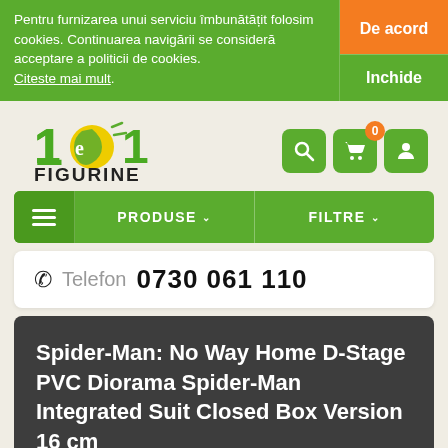Pentru furnizarea unui serviciu îmbunătățit folosim cookies. Continuarea navigării se consideră acceptare a politicii de cookies. Citeste mai mult.
De acord
Inchide
[Figure (logo): 101Figurine logo with green numbers and yellow/green circular element]
[Figure (infographic): Navigation icons: search (magnifier), cart with badge 0, user account]
PRODUSE
FILTRE
Telefon 0730 061 110
Spider-Man: No Way Home D-Stage PVC Diorama Spider-Man Integrated Suit Closed Box Version 16 cm